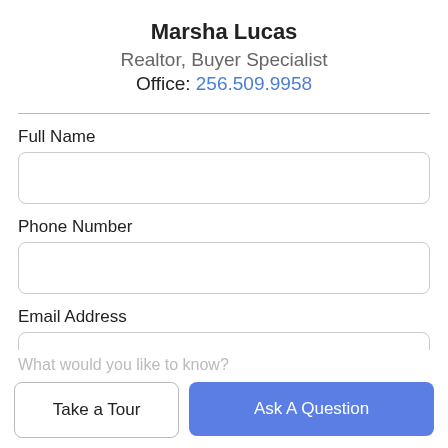Marsha Lucas
Realtor, Buyer Specialist
Office: 256.509.9958
Full Name
Phone Number
Email Address
What would you like to know?
Take a Tour
Ask A Question